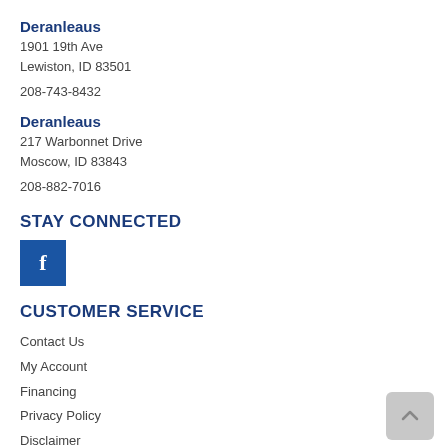Deranleaus
1901 19th Ave
Lewiston, ID 83501
208-743-8432
Deranleaus
217 Warbonnet Drive
Moscow, ID 83843
208-882-7016
STAY CONNECTED
[Figure (logo): Facebook logo icon — blue square with white 'f']
CUSTOMER SERVICE
Contact Us
My Account
Financing
Privacy Policy
Disclaimer
Terms of Service